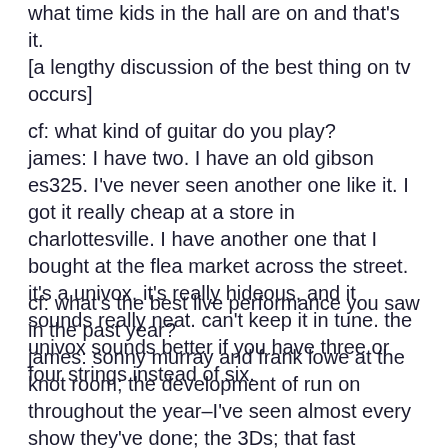what time kids in the hall are on and that's it.
[a lengthy discussion of the best thing on tv occurs]
cf: what kind of guitar do you play?
james: I have two. I have an old gibson es325. I've never seen another one like it. I got it really cheap at a store in charlottesville. I have another one that I bought at the flea market across the street. it's a univox, it's really hideous, and it sounds really neat. can't keep it in tune. the univox sounds better if you have three or four strings instead of six.
cf: what's the best live performance you saw in the past year?
james: sonny murray and frank lowe at the knot room; the development of run on throughout the year–I've seen almost every show they've done; the 3Ds; that fast forward festival thing; tortoise; elvis costello and the attractions in copenhagen. I've never been arrested